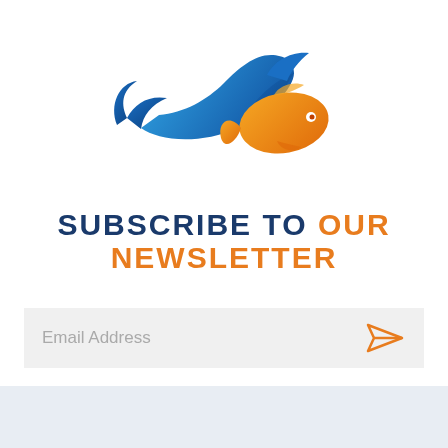[Figure (logo): A stylized fish/dolphin logo with blue wave elements and an orange fish body, swimming left to right]
SUBSCRIBE TO OUR NEWSLETTER
Email Address